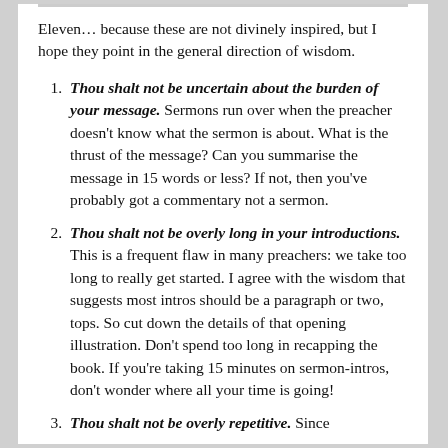Eleven… because these are not divinely inspired, but I hope they point in the general direction of wisdom.
Thou shalt not be uncertain about the burden of your message. Sermons run over when the preacher doesn't know what the sermon is about. What is the thrust of the message? Can you summarise the message in 15 words or less? If not, then you've probably got a commentary not a sermon.
Thou shalt not be overly long in your introductions. This is a frequent flaw in many preachers: we take too long to really get started. I agree with the wisdom that suggests most intros should be a paragraph or two, tops. So cut down the details of that opening illustration. Don't spend too long in recapping the book. If you're taking 15 minutes on sermon-intros, don't wonder where all your time is going!
Thou shalt not be overly repetitive. Since